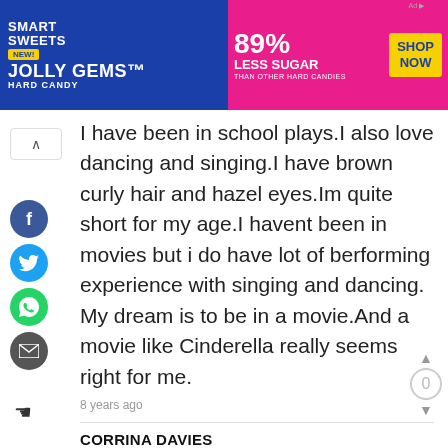[Figure (screenshot): Smart Sweets Jolly Gems advertisement banner — blue and pink background, 89% Less Sugar, Shop Now button]
I have been in school plays.I also love dancing and singing.I have brown curly hair and hazel eyes.Im quite short for my age.I havent been in movies but i do have lot of berforming experience with singing and dancing. My dream is to be in a movie.And a movie like Cinderella really seems right for me.
8 years ago
CORRINA DAVIES
Hello,